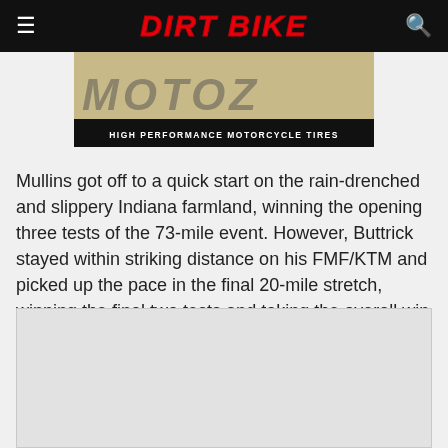DIRT BIKE
[Figure (logo): MOTOZ High Performance Motorcycle Tires advertisement banner with stylized italic logo text on tan/khaki background and black bar with white text subtitle]
Mullins got off to a quick start on the rain-drenched and slippery Indiana farmland, winning the opening three tests of the 73-mile event. However, Buttrick stayed within striking distance on his FMF/KTM and picked up the pace in the final 20-mile stretch, winning the final two tests and taking the overall win by a one-minute margin over Mullins.
[Figure (other): Gray/light colored rectangular content box area at bottom of page]